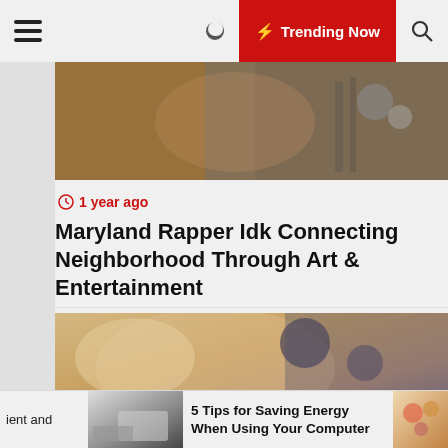Trending Now
[Figure (photo): Close-up of hands playing a guitar, warm brown tones]
1 year ago
Maryland Rapper Idk Connecting Neighborhood Through Art & Entertainment
[Figure (photo): Close-up portrait of a blonde woman with blue eyes in a car]
2 years ago
ient and
[Figure (photo): Hands typing on a laptop keyboard]
5 Tips for Saving Energy When Using Your Computer
[Figure (photo): Colorful food or drink thumbnail]